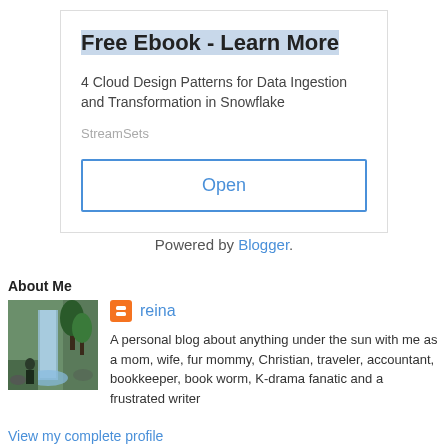Free Ebook - Learn More
4 Cloud Design Patterns for Data Ingestion and Transformation in Snowflake
StreamSets
Open
Powered by Blogger.
About Me
reina
A personal blog about anything under the sun with me as a mom, wife, fur mommy, Christian, traveler, accountant, bookkeeper, book worm, K-drama fanatic and a frustrated writer
View my complete profile